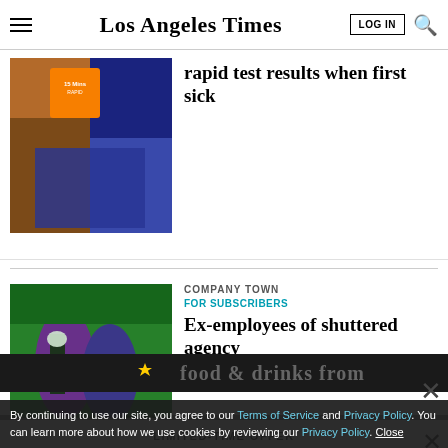Los Angeles Times
[Figure (photo): Image of a car window with an orange rapid test sign visible, dark interior]
rapid test results when first sick
[Figure (photo): Two musicians performing on stage, one singing and one playing guitar, colorful background]
COMPANY TOWN
FOR SUBSCRIBERS
Ex-employees of shuttered agency
LIMITED-TIME OFFER
$1 for 6 Months
SUBSCRIBE NOW
By continuing to use our site, you agree to our Terms of Service and Privacy Policy. You can learn more about how we use cookies by reviewing our Privacy Policy. Close